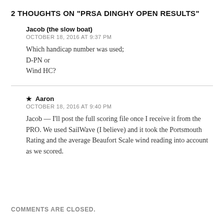2 THOUGHTS ON "PRSA DINGHY OPEN RESULTS"
Jacob (the slow boat)
OCTOBER 18, 2016 AT 9:37 PM
Which handicap number was used;
D-PN or
Wind HC?
★ Aaron
OCTOBER 18, 2016 AT 9:40 PM
Jacob — I'll post the full scoring file once I receive it from the PRO. We used SailWave (I believe) and it took the Portsmouth Rating and the average Beaufort Scale wind reading into account as we scored.
COMMENTS ARE CLOSED.